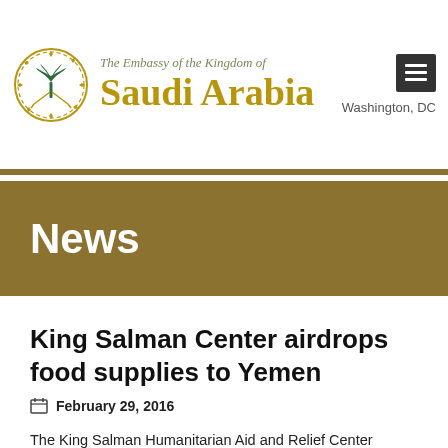The Embassy of the Kingdom of Saudi Arabia — Washington, DC
News
King Salman Center airdrops food supplies to Yemen
February 29, 2016
The King Salman Humanitarian Aid and Relief Center (KSRELIEF) successfully carried out three rounds of airdrops for Taiz, Yemen, over the last three days, the center's General Supervisor, Dr. Abdullah Al-Rabeeah, told reporters in Washington today.  Dr. Al-Rabeeah said that Taiz had been the most